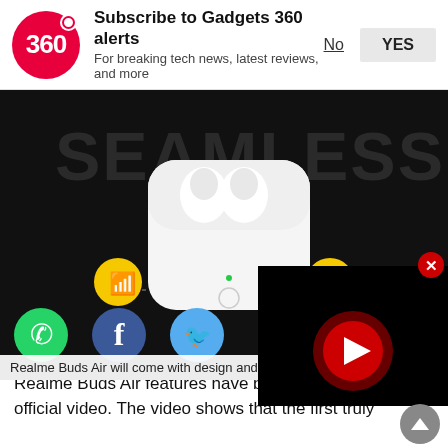Subscribe to Gadgets 360 alerts
For breaking tech news, latest reviews, and more
[Figure (photo): Realme Buds Air wireless earbuds in white charging case on black background with 'SEAMLESS' text, Bluetooth icon (yellow circle) and phone icon (yellow circle)]
Realme Buds Air will come with design and features
[Figure (screenshot): Video player overlay on black background showing a red YouTube-style play button with red glow]
[Figure (logo): WhatsApp green circle icon]
[Figure (logo): Facebook blue circle icon]
[Figure (logo): Twitter blue circle icon]
Realme Buds Air features have been teased through an official video. The video shows that the first truly